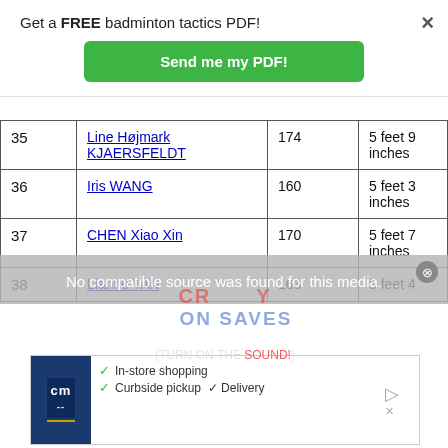Get a FREE badminton tactics PDF!
Send me my PDF!
| # | Name | cm | Height |
| --- | --- | --- | --- |
| 35 | Line Højmark KJAERSFELDT | 174 | 5 feet 9 inches |
| 36 | Iris WANG | 160 | 5 feet 3 inches |
| 37 | CHEN Xiao Xin | 170 | 5 feet 7 inches |
| 38 | Lianne TAN | 163 | 5 feet 4 |
No compatible source was found for this media.
In-store shopping · Curbside pickup · Delivery